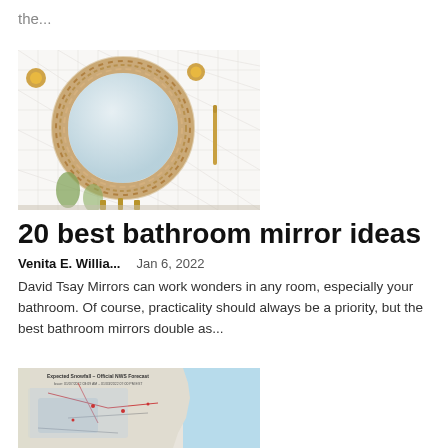the...
[Figure (photo): Bathroom with a round woven/braided circular mirror framed in rope or rattan, mounted on white tile wall with gold fixtures and towel bar]
20 best bathroom mirror ideas
Venita E. Willia...   Jan 6, 2022
David Tsay Mirrors can work wonders in any room, especially your bathroom. Of course, practicality should always be a priority, but the best bathroom mirrors double as...
[Figure (map): Expected Snowfall - Official NWS Forecast map showing a regional weather map with snowfall predictions]